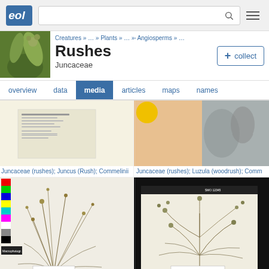EOL - Encyclopedia of Life media page for Rushes (Juncaceae)
Rushes
Juncaceae
Creatures » … » Plants » … » Angiosperms » …
[Figure (screenshot): Navigation tabs: overview, data, media (active), articles, maps, names]
[Figure (photo): Herbarium specimen of Juncaceae (rushes); Juncus (Rush); Commelinii - document/card style image]
Juncaceae (rushes); Juncus (Rush); Commelinii
[Figure (photo): Juncaceae (rushes); Luzula (woodrush) - close up with yellow and grey background]
Juncaceae (rushes); Luzula (woodrush); Comm
[Figure (photo): Herbarium specimen of Juncaceae (rushes); Juncus (Rush); Juncus parr - dried plant mounted on white card with color swatch bar]
Juncaceae (rushes); Juncus (Rush); Juncus parr
[Figure (photo): Herbarium specimen of Juncaceae (rushes); Luzula (woodrush); Trache - dried plant mounted on card with black header bar]
Juncaceae (rushes); Luzula (woodrush); Trache